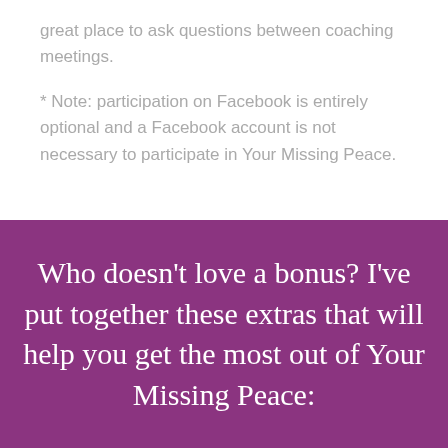great place to ask questions between coaching meetings.
* Note: participation on Facebook is entirely optional and a Facebook account is not necessary to participate in Your Missing Peace.
Who doesn't love a bonus? I've put together these extras that will help you get the most out of Your Missing Peace: